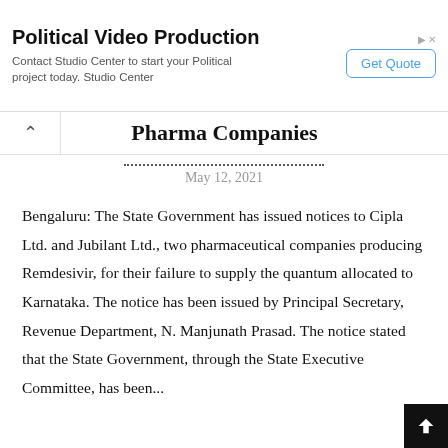[Figure (other): Advertisement banner for Political Video Production by Studio Center with a Get Quote button]
Pharma Companies
May 12, 2021
Bengaluru: The State Government has issued notices to Cipla Ltd. and Jubilant Ltd., two pharmaceutical companies producing Remdesivir, for their failure to supply the quantum allocated to Karnataka. The notice has been issued by Principal Secretary, Revenue Department, N. Manjunath Prasad.  The notice stated that the State Government, through the State Executive Committee, has been...